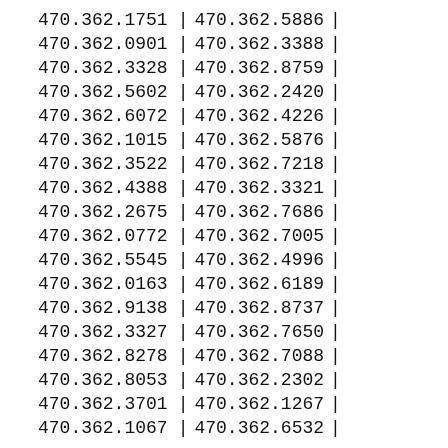| 470.362.1751 | | | 470.362.5886 | | |
| 470.362.0901 | | | 470.362.3388 | | |
| 470.362.3328 | | | 470.362.8759 | | |
| 470.362.5602 | | | 470.362.2420 | | |
| 470.362.6072 | | | 470.362.4226 | | |
| 470.362.1015 | | | 470.362.5876 | | |
| 470.362.3522 | | | 470.362.7218 | | |
| 470.362.4388 | | | 470.362.3321 | | |
| 470.362.2675 | | | 470.362.7686 | | |
| 470.362.0772 | | | 470.362.7005 | | |
| 470.362.5545 | | | 470.362.4996 | | |
| 470.362.0163 | | | 470.362.6189 | | |
| 470.362.9138 | | | 470.362.8737 | | |
| 470.362.3327 | | | 470.362.7650 | | |
| 470.362.8278 | | | 470.362.7088 | | |
| 470.362.8053 | | | 470.362.2302 | | |
| 470.362.3701 | | | 470.362.1267 | | |
| 470.362.1067 | | | 470.362.6532 | | |